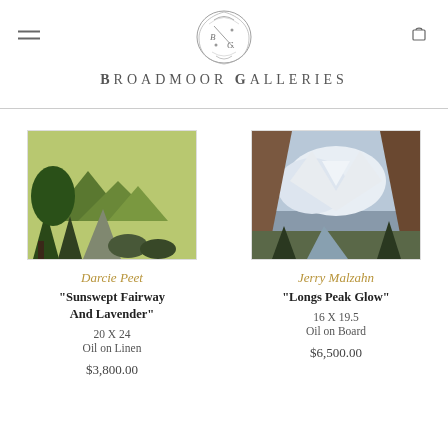Broadmoor Galleries
[Figure (photo): Landscape painting: a path through green trees with mountains in background (Sunswept Fairway And Lavender by Darcie Peet)]
Darcie Peet
"Sunswept Fairway And Lavender"
20 X 24
Oil on Linen
$3,800.00
[Figure (photo): Mountain landscape painting with snow-capped peaks, canyon walls, and a stream (Longs Peak Glow by Jerry Malzahn)]
Jerry Malzahn
"Longs Peak Glow"
16 X 19.5
Oil on Board
$6,500.00